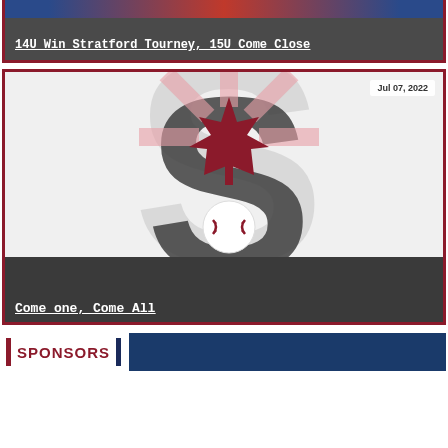14U Win Stratford Tourney, 15U Come Close
[Figure (logo): Baseball organization logo with large dark S letter, red maple leaf, and baseball. Date badge: Jul 07, 2022]
Come one, Come All
SPONSORS